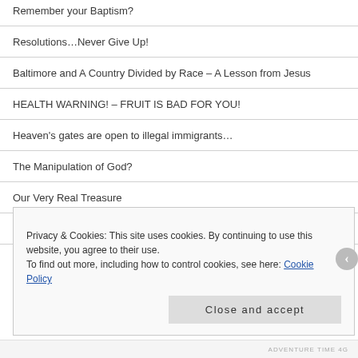Remember your Baptism?
Resolutions…Never Give Up!
Baltimore and A Country Divided by Race – A Lesson from Jesus
HEALTH WARNING! – FRUIT IS BAD FOR YOU!
Heaven's gates are open to illegal immigrants…
The Manipulation of God?
Our Very Real Treasure
Could I? Would You?
F.I.G.H.T. Anxiety and Worry…
Privacy & Cookies: This site uses cookies. By continuing to use this website, you agree to their use.
To find out more, including how to control cookies, see here: Cookie Policy
ADVENTURE TIME 4G